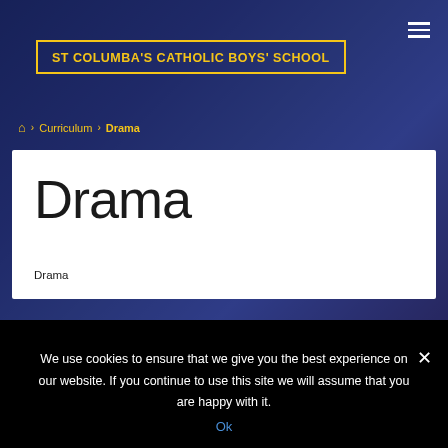ST COLUMBA'S CATHOLIC BOYS' SCHOOL
🏠 › Curriculum › Drama
Drama
Drama
We use cookies to ensure that we give you the best experience on our website. If you continue to use this site we will assume that you are happy with it.
Ok